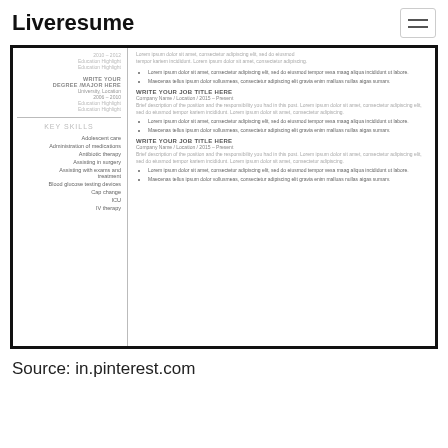Liveresume
[Figure (screenshot): A resume template screenshot showing a two-column layout. Left column has education dates, highlights, degree/major placeholder, key skills list including: Adolescent care, Administration of medications, Antibiotic therapy, Assisting in surgery, Assisting with exams and treatment, Blood glucose testing devices, Cap change, ICU, IV therapy. Right column has lorem ipsum job descriptions with two job entries titled WRITE YOUR JOB TITLE HERE, Company Name / Location / 2015 – Present.]
Source: in.pinterest.com